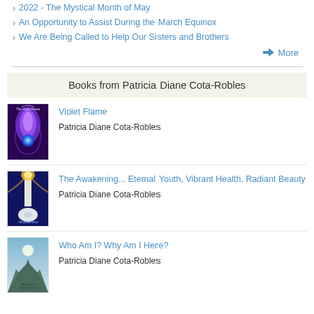2022 - The Mystical Month of May
An Opportunity to Assist During the March Equinox
We Are Being Called to Help Our Sisters and Brothers
➡ More
Books from Patricia Diane Cota-Robles
[Figure (illustration): Book cover for Violet Flame with purple flame and earth imagery]
Violet Flame
Patricia Diane Cota-Robles
[Figure (illustration): Book cover for The Awakening with light beam and flower imagery]
The Awakening... Eternal Youth, Vibrant Health, Radiant Beauty
Patricia Diane Cota-Robles
[Figure (illustration): Book cover for Who Am I? Why Am I Here? with mountain and sky imagery]
Who Am I? Why Am I Here?
Patricia Diane Cota-Robles